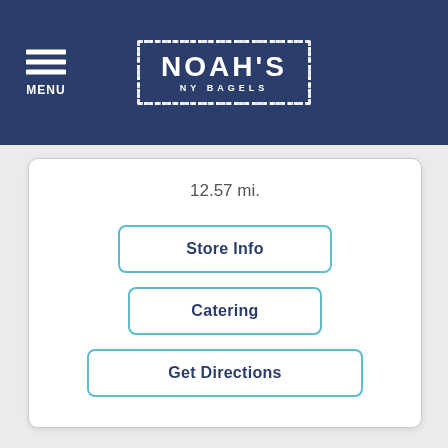MENU | NOAH'S NY BAGELS
12.57 mi.
Store Info
Catering
Get Directions
US | CA | Pinole | 1552 Fitzgerald Dr
[Figure (logo): Noah's NY Bagels logo in footer, white dotted border box on navy background]